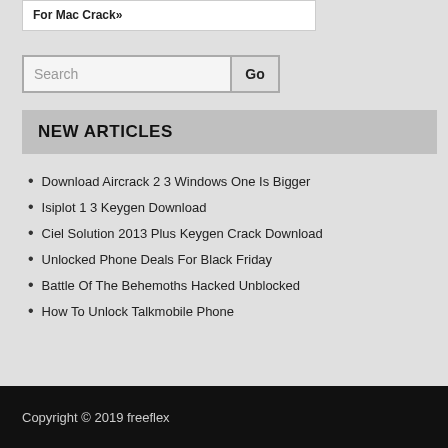For Mac Crack»
Search
Download Aircrack 2 3 Windows One Is Bigger
Isiplot 1 3 Keygen Download
Ciel Solution 2013 Plus Keygen Crack Download
Unlocked Phone Deals For Black Friday
Battle Of The Behemoths Hacked Unblocked
How To Unlock Talkmobile Phone
NEW ARTICLES
Copyright © 2019 freeflex